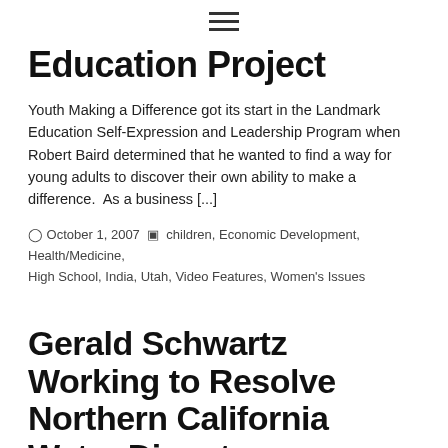≡
Education Project
Youth Making a Difference got its start in the Landmark Education Self-Expression and Leadership Program when Robert Baird determined that he wanted to find a way for young adults to discover their own ability to make a difference.  As a business [...]
⏰ October 1, 2007 📁 children, Economic Development, Health/Medicine, High School, India, Utah, Video Features, Women's Issues
Gerald Schwartz Working to Resolve Northern California Water Disputes
Gerald Schwartz is a Landmark Education Graduate and leads